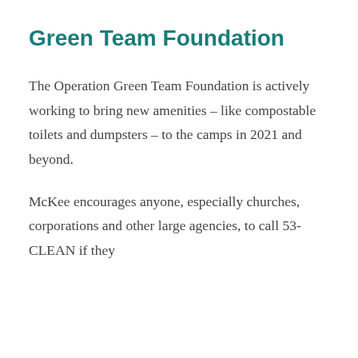Green Team Foundation
The Operation Green Team Foundation is actively working to bring new amenities – like compostable toilets and dumpsters – to the camps in 2021 and beyond.
McKee encourages anyone, especially churches, corporations and other large agencies, to call 53-CLEAN if they